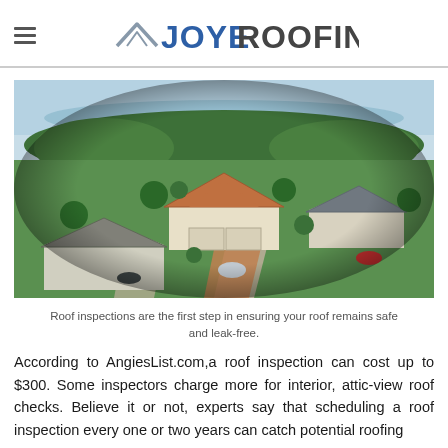JOYE ROOFING
[Figure (photo): Aerial fisheye-lens photograph of a Florida residential neighborhood showing multiple houses with various rooftop styles including terracotta tile and dark shingle roofs, surrounded by palm trees and lush greenery, with a body of water visible in the background.]
Roof inspections are the first step in ensuring your roof remains safe and leak-free.
According to AngiesList.com,a roof inspection can cost up to $300. Some inspectors charge more for interior, attic-view roof checks. Believe it or not, experts say that scheduling a roof inspection every one or two years can catch potential roofing